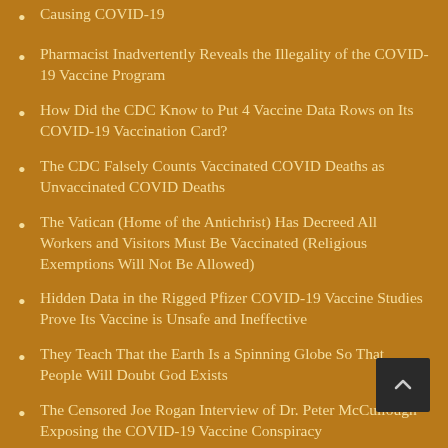Causing COVID-19
Pharmacist Inadvertently Reveals the Illegality of the COVID-19 Vaccine Program
How Did the CDC Know to Put 4 Vaccine Data Rows on Its COVID-19 Vaccination Card?
The CDC Falsely Counts Vaccinated COVID Deaths as Unvaccinated COVID Deaths
The Vatican (Home of the Antichrist) Has Decreed All Workers and Visitors Must Be Vaccinated (Religious Exemptions Will Not Be Allowed)
Hidden Data in the Rigged Pfizer COVID-19 Vaccine Studies Prove Its Vaccine is Unsafe and Ineffective
They Teach That the Earth Is a Spinning Globe So That People Will Doubt God Exists
The Censored Joe Rogan Interview of Dr. Peter McCullough Exposing the COVID-19 Vaccine Conspiracy
In December 2020 the CEO of BioNTech Stated He Had Not Been Vaccinated